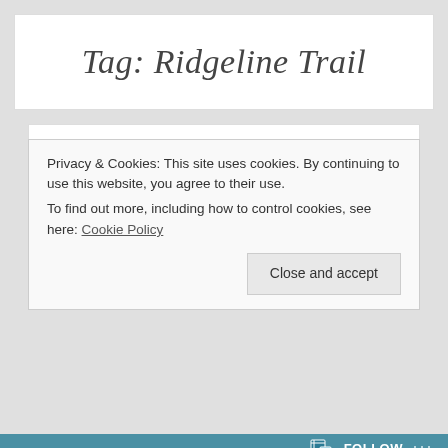Tag: Ridgeline Trail
Hike, Bike, Kayak ~ Eugene's Triple Treat
August 7, 2012   LuAnn
Privacy & Cookies: This site uses cookies. By continuing to use this website, you agree to their use.
To find out more, including how to control cookies, see here: Cookie Policy
Close and accept
FOLLOW ...